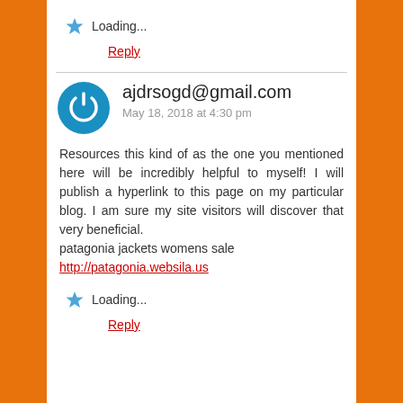Loading...
Reply
ajdrsogd@gmail.com
May 18, 2018 at 4:30 pm
Resources this kind of as the one you mentioned here will be incredibly helpful to myself! I will publish a hyperlink to this page on my particular blog. I am sure my site visitors will discover that very beneficial.
patagonia jackets womens sale
http://patagonia.websila.us
Loading...
Reply